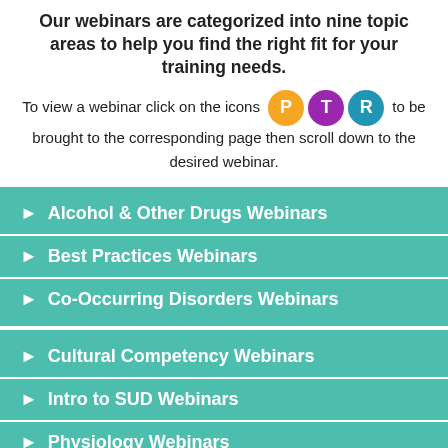Our webinars are categorized into nine topic areas to help you find the right fit for your training needs.
To view a webinar click on the icons [P] [T] [R] to be brought to the corresponding page then scroll down to the desired webinar.
Alcohol & Other Drugs Webinars
Best Practices Webinars
Co-Occurring Disorders Webinars
Cultural Competency Webinars
Intro to SUD Webinars
Physiology Webinars